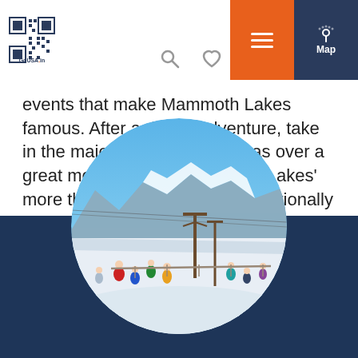GoUSA.in — navigation header with logo, search, heart, hamburger menu, and Map button
events that make Mammoth Lakes famous. After a day of adventure, take in the majestic mountains vistas over a great meal at one of Mammoth Lakes' more than 70 restaurants or a nationally famous craft brewery.
Mammoth Lakes is home to world-famous Mammoth...
Read More ↓
[Figure (photo): Circular cropped photo of a ski resort with snow-covered mountains in the background, blue sky, and people gathered on a snowy mountaintop viewing area with ski lift towers visible. Set against a dark navy blue background section.]